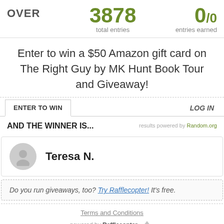OVER   3878 total entries   0/0 entries earned
Enter to win a $50 Amazon gift card on The Right Guy by MK Hunt Book Tour and Giveaway!
ENTER TO WIN   LOG IN
AND THE WINNER IS...
results powered by Random.org
Teresa N.
Do you run giveaways, too? Try Rafflecopter! It's free.
Terms and Conditions
powered by Rafflecopter